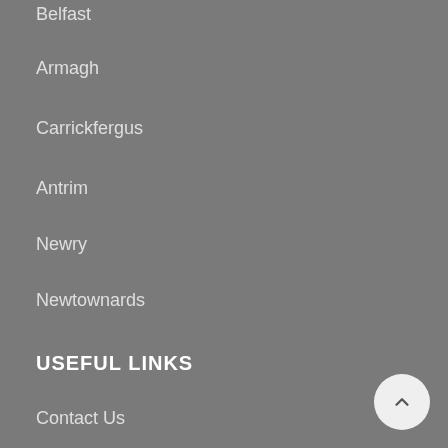Belfast
Armagh
Carrickfergus
Antrim
Newry
Newtownards
USEFUL LINKS
Contact Us
Special Offers
FOOTER MENU
Doors
Floors